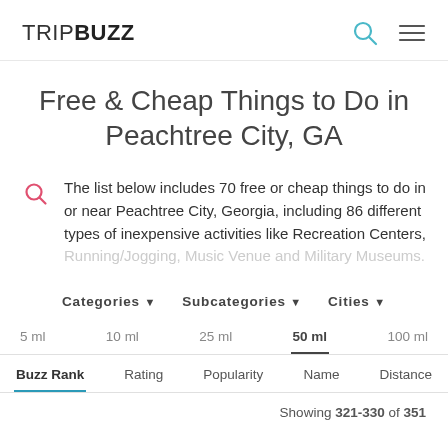TRIPBUZZ
Free & Cheap Things to Do in Peachtree City, GA
The list below includes 70 free or cheap things to do in or near Peachtree City, Georgia, including 86 different types of inexpensive activities like Recreation Centers, Running/Jogging, Music Venue and Military Museums.
Categories  Subcategories  Cities
5 ml  10 ml  25 ml  50 ml  100 ml
Buzz Rank  Rating  Popularity  Name  Distance
Showing 321-330 of 351